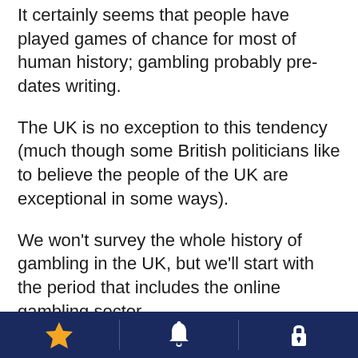It certainly seems that people have played games of chance for most of human history; gambling probably pre-dates writing.
The UK is no exception to this tendency (much though some British politicians like to believe the people of the UK are exceptional in some ways).
We won't survey the whole history of gambling in the UK, but we'll start with the period that includes the online gambling sector.
For much of the 20th-century gambling was very tightly controlled in the UK. Gambling could only take place in licensed premises, including book maker's shops (which offered sports betting, primarily horse racing) and casinos.
Navigation bar with star, bell, and lock icons